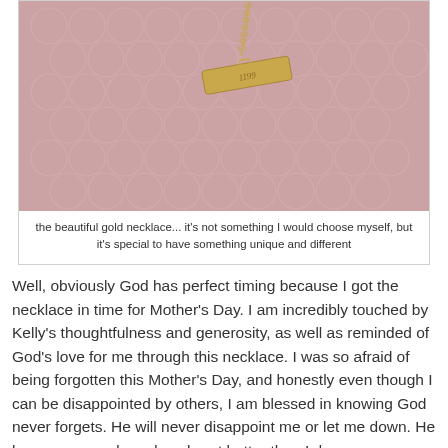[Figure (photo): A gold bar necklace with engraved text resting on pink lace fabric background]
the beautiful gold necklace... it's not something I would choose myself, but it's special to have something unique and different
Well, obviously God has perfect timing because I got the necklace in time for Mother's Day. I am incredibly touched by Kelly's thoughtfulness and generosity, as well as reminded of God's love for me through this necklace. I was so afraid of being forgotten this Mother's Day, and honestly even though I can be disappointed by others, I am blessed in knowing God never forgets. He will never disappoint me or let me down. He knows my needs and my heart better than I do.